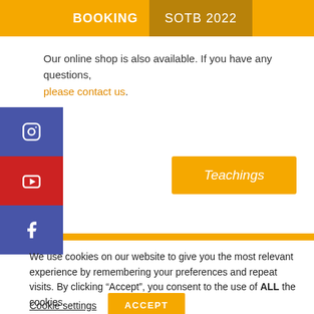BOOKING   SOTB 2022
Our online shop is also available. If you have any questions, please contact us.
[Figure (screenshot): Social media sidebar with Instagram, YouTube, and Facebook icons on colored backgrounds (blue, red, blue)]
Teachings
We use cookies on our website to give you the most relevant experience by remembering your preferences and repeat visits. By clicking “Accept”, you consent to the use of ALL the cookies.
Cookie settings   ACCEPT